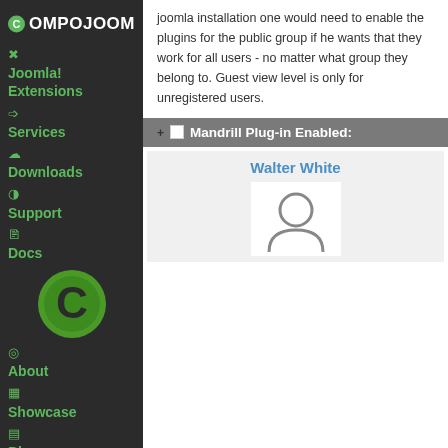[Figure (logo): Compojoom logo with white C in green circle and text COMPOJOOM]
Joomla! Extensions
Services
Downloads
Support
Docs
[Figure (logo): Large green circle C logo]
About
Showcase
Blog
joomla installation one would need to enable the plugins for the public group if he wants that they work for all users - no matter what group they belong to. Guest view level is only for unregistered users.
Mandrill Plug-in Enabled:
Walter White
[Figure (illustration): User avatar placeholder icon showing a person silhouette]